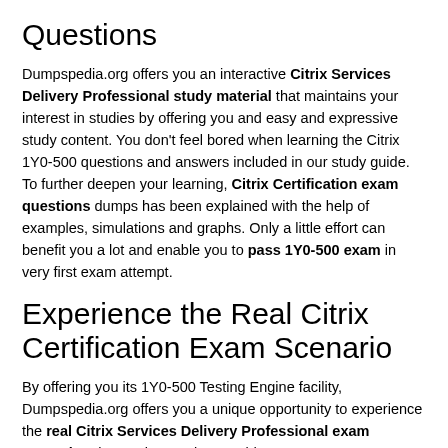Questions
Dumpspedia.org offers you an interactive Citrix Services Delivery Professional study material that maintains your interest in studies by offering you and easy and expressive study content. You don't feel bored when learning the Citrix 1Y0-500 questions and answers included in our study guide. To further deepen your learning, Citrix Certification exam questions dumps has been explained with the help of examples, simulations and graphs. Only a little effort can benefit you a lot and enable you to pass 1Y0-500 exam in very first exam attempt.
Experience the Real Citrix Certification Exam Scenario
By offering you its 1Y0-500 Testing Engine facility, Dumpspedia.org offers you a unique opportunity to experience the real Citrix Services Delivery Professional exam scenario. The Testing Engine provides you numerous exam-like 1Y0-500 practice tests, comprising mostly the questions taken from the old papers of Citrix 1Y0-500 certification exam. By solving these tests you not only know the format of the actual Citrix Certification 1Y0-500 exam questions but also learn your weaknesses. Thus you can easily